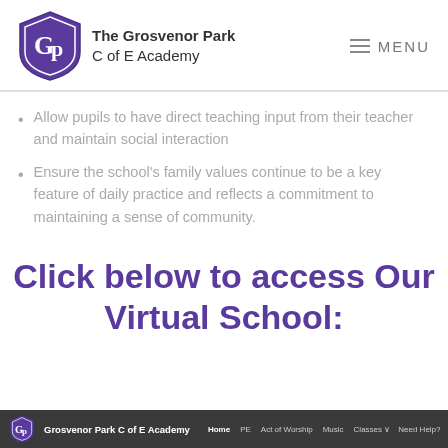[Figure (logo): The Grosvenor Park C of E Academy logo with a purple shield containing 'Gp' letters, and school name text beside it, plus a hamburger menu icon with 'MENU' text on the right]
Allow pupils to have direct teaching input from their teacher and maintain social interaction
Ensure the school's family values continue to be a key feature of daily practice and reflects a commitment to maintaining a sense of community.
Click below to access Our Virtual School:
[Figure (screenshot): Screenshot of the Grosvenor Park C of E Academy website navigation bar showing the school logo, name, and navigation links: Home, PE, Act of Worship, Music, Classes, Need Help?]